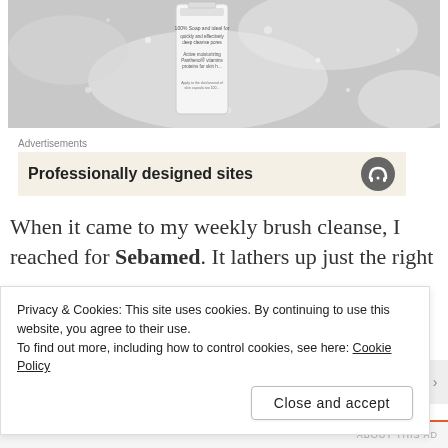[Figure (photo): A white cosmetic bottle (Sebamed product) surrounded by white foam/bubbles on a wet surface. The bottle label shows text about soap and moisturizing properties.]
Advertisements
[Figure (screenshot): Advertisement banner with cream/beige background showing text 'Professionally designed sites' with a stylized headphone icon on the right.]
When it came to my weekly brush cleanse, I reached for Sebamed. It lathers up just the right
Privacy & Cookies: This site uses cookies. By continuing to use this website, you agree to their use.
To find out more, including how to control cookies, see here: Cookie Policy
Close and accept